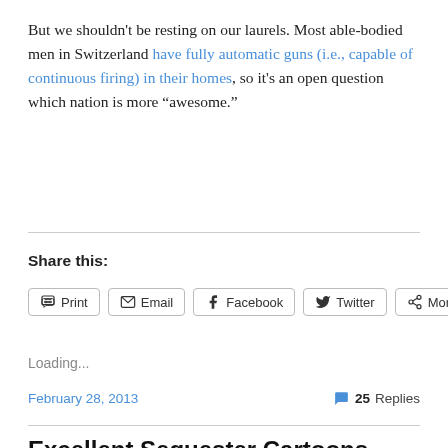But we shouldn't be resting on our laurels. Most able-bodied men in Switzerland have fully automatic guns (i.e., capable of continuous firing) in their homes, so it's an open question which nation is more “awesome.”
Share this:
Loading...
February 28, 2013 | 25 Replies
Excellent Sequester Cartoons